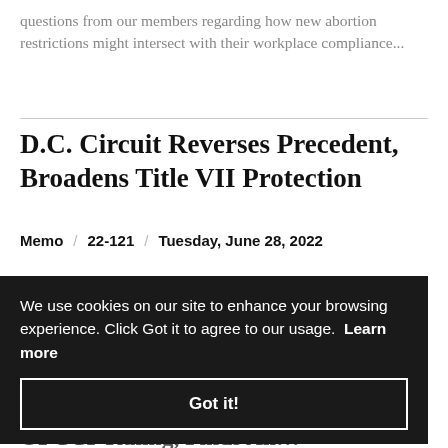questions from our members regarding how new abortion restrictions might intersect with their workplace compliance...
D.C. Circuit Reverses Precedent, Broadens Title VII Protection
Memo  22-121  Tuesday, June 28, 2022
The influential federal appeals court has overruled long-standing precedent under Title VII... [partially obscured by cookie banner]
We use cookies on our site to enhance your browsing experience. Click Got it to agree to our usage. Learn more
Got it!
Unanimous ARB Reverses Pro-OFCCP Ruling, Finds All...